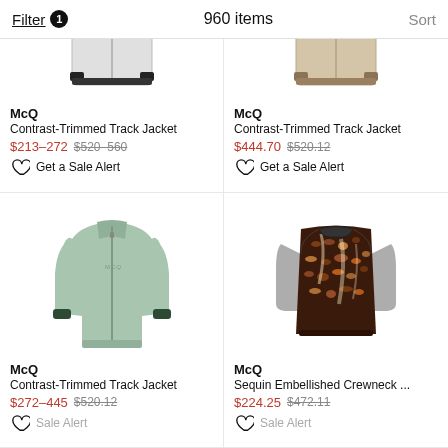Filter 1   960 items   Sort
[Figure (photo): Partial view of McQ Contrast-Trimmed Track Jacket, gray/white, cropped at top]
McQ
Contrast-Trimmed Track Jacket
$213–272 $520–560
Get a Sale Alert
[Figure (photo): Partial view of McQ Contrast-Trimmed Track Jacket, tan/beige, cropped at top]
McQ
Contrast-Trimmed Track Jacket
$444.70 $520.12
Get a Sale Alert
[Figure (photo): McQ Contrast-Trimmed Track Jacket in mint/sage green with black trim stripe]
McQ
Contrast-Trimmed Track Jacket
$272–445 $520.12
[Figure (photo): McQ Sequin Embellished Crewneck top with dark brown/copper sequins and sheer sleeves]
McQ
Sequin Embellished Crewneck ...
$224.25 $472.11